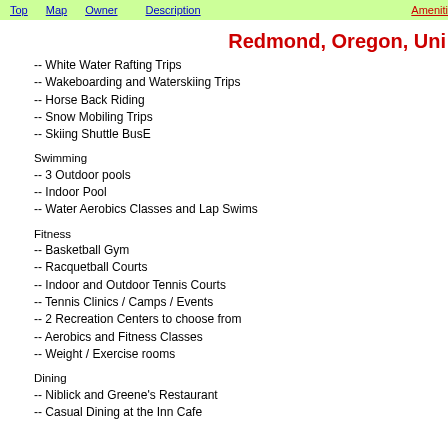Top  Map  Owner  Description  Ameniti...
Redmond, Oregon, Uni...
-- White Water Rafting Trips
-- Wakeboarding and Waterskiing Trips
-- Horse Back Riding
-- Snow Mobiling Trips
-- Skiing Shuttle BusE
Swimming
-- 3 Outdoor pools
-- Indoor Pool
-- Water Aerobics Classes and Lap Swims
Fitness
-- Basketball Gym
-- Racquetball Courts
-- Indoor and Outdoor Tennis Courts
-- Tennis Clinics / Camps / Events
-- 2 Recreation Centers to choose from
-- Aerobics and Fitness Classes
-- Weight / Exercise rooms
Dining
-- Niblick and Greene's Restaurant
-- Casual Dining at the Inn Cafe